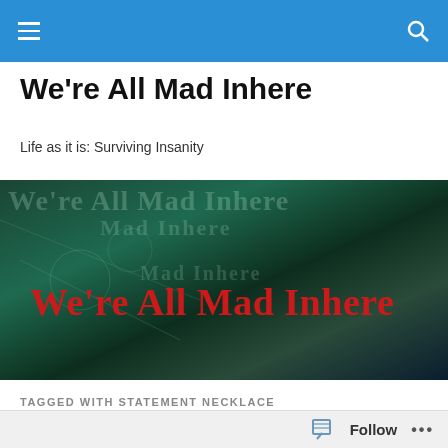Navigation bar with hamburger menu and search icon
We're All Mad Inhere
Life as it is: Surviving Insanity
[Figure (illustration): Blog banner image with dark teal/green background showing 'We're All Mad Inhere' in red text overlaid on scientific/mathematical diagrams, with lighter ghost text of the same title]
TAGGED WITH STATEMENT NECKLACE
Typewriter Lovers, Attention!
Follow ...